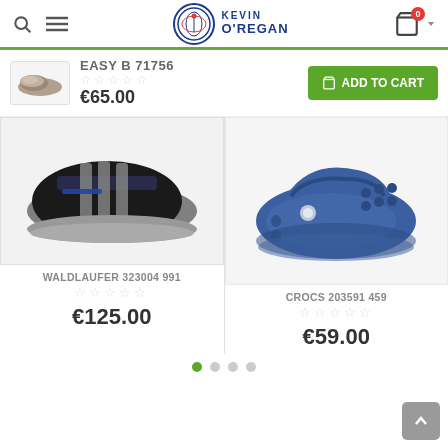[Figure (screenshot): Kevin O'Regan shoe store website header with search icon, menu icon, logo, shopping cart with 0 badge]
[Figure (photo): Small grey slip-on shoe thumbnail for Easy B 71756]
EASY B 71756
☆☆☆☆☆
€65.00
ADD TO CART
[Figure (photo): Black and grey Waldlaufer athletic shoe with velcro strap]
WALDLAUFER 323004 991
☆☆☆☆☆
€125.00
[Figure (photo): Navy blue Crocs clog with fleece lining]
CROCS 203591 459
☆☆☆☆☆
€59.00